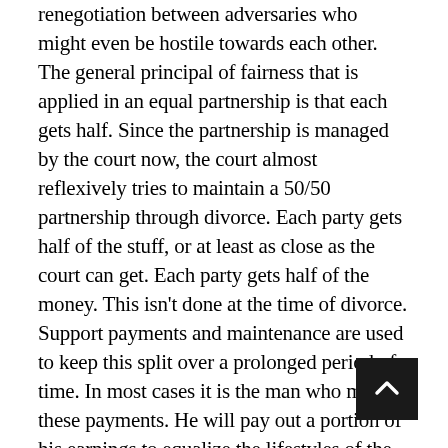renegotiation between adversaries who might even be hostile towards each other. The general principal of fairness that is applied in an equal partnership is that each gets half. Since the partnership is managed by the court now, the court almost reflexively tries to maintain a 50/50 partnership through divorce. Each party gets half of the stuff, or at least as close as the court can get. Each party gets half of the money. This isn't done at the time of divorce. Support payments and maintenance are used to keep this split over a prolonged period of time. In most cases it is the man who makes these payments. He will pay out a portion of his earnings to equalize the lifestyles of the two for sometimes the rest of her life. The ideas about child support are rooted in a philosophy that the child is due a portion of the parents earnings, and that too in a shared custody situation should be split 50/50, thus the higher earning parent now must pay the other parent to equalize this. In a sole custody situation this money transfer becomes large enough that often times the ex-